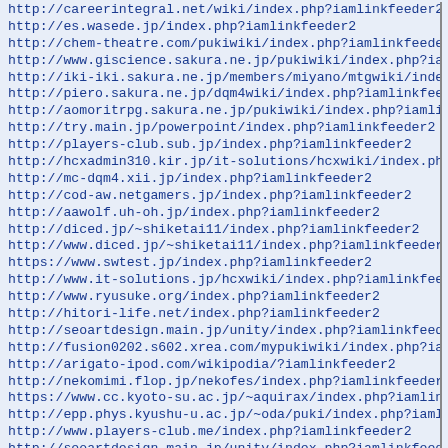http://careerintegral.net/wiki/index.php?iamlinkfeeder2
http://es.wasede.jp/index.php?iamlinkfeeder2
http://chem-theatre.com/pukiwiki/index.php?iamlinkfeeder2
http://www.giscience.sakura.ne.jp/pukiwiki/index.php?iamlin
http://iki-iki.sakura.ne.jp/members/miyano/mtgwiki/index.ph
http://piero.sakura.ne.jp/dqm4wiki/index.php?iamlinkfeeder2
http://aomoritrpg.sakura.ne.jp/pukiwiki/index.php?iamlinkfe
http://try.main.jp/powerpoint/index.php?iamlinkfeeder2
http://players-club.sub.jp/index.php?iamlinkfeeder2
http://hcxadmin310.kir.jp/it-solutions/hcxwiki/index.php?ia
http://mc-dqm4.xii.jp/index.php?iamlinkfeeder2
http://cod-aw.netgamers.jp/index.php?iamlinkfeeder2
http://aawolf.uh-oh.jp/index.php?iamlinkfeeder2
http://diced.jp/~shiketai11/index.php?iamlinkfeeder2
http://www.diced.jp/~shiketai11/index.php?iamlinkfeeder2
https://www.swtest.jp/index.php?iamlinkfeeder2
http://www.it-solutions.jp/hcxwiki/index.php?iamlinkfeeder2
http://www.ryusuke.org/index.php?iamlinkfeeder2
http://hitori-life.net/index.php?iamlinkfeeder2
http://seoartdesign.main.jp/unity/index.php?iamlinkfeeder2
http://fusion0202.s602.xrea.com/mypukiwiki/index.php?iamlin
http://arigato-ipod.com/wikipodia/?iamlinkfeeder2
http://nekomimi.flop.jp/nekofes/index.php?iamlinkfeeder2
https://www.cc.kyoto-su.ac.jp/~aquirax/index.php?iamlinkfee
http://epp.phys.kyushu-u.ac.jp/~oda/puki/index.php?iamlinkf
http://www.players-club.me/index.php?iamlinkfeeder2
http://seoartdesign.main.jp/unity/index.php?iamlinkfeeder3
http://ee72078.moo.jp/chinsan/pc/Lab/index.php?iamlinkfeede
http://sym-bio.jpn.org/nuclearinfo/webtext/index.php?iamlin
http://vascii.hibo.jp/wiki01/index.php?iamlinkfeeder2